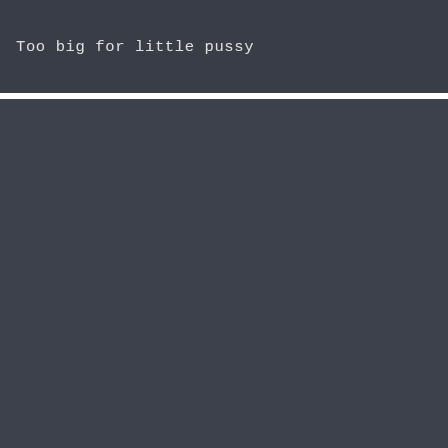Too big for little pussy
[Figure (photo): Dark grey image placeholder block with caption text at bottom]
Amy Smart in 'Crank 2 : High Voltage'
[Figure (photo): Dark grey image placeholder block at bottom of page]